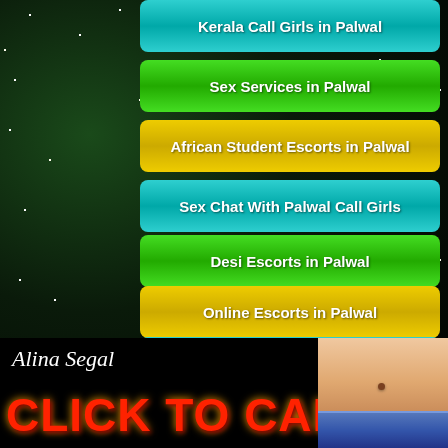Kerala Call Girls in Palwal
Sex Services in Palwal
African Student Escorts in Palwal
Sex Chat With Palwal Call Girls
Desi Escorts in Palwal
Online Escorts in Palwal
Best Reviewed Escorts in Palwal
Turkish Girl Escorts in Palwal
Palwal Escorts for Couple
Air Hostess Escorts in Palwal
Alina Segal
CLICK TO CALL
[Figure (photo): Cropped photo of a woman's midsection wearing jeans]